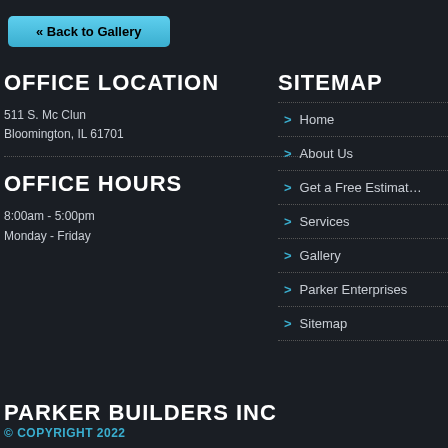« Back to Gallery
OFFICE LOCATION
511 S. Mc Clun
Bloomington, IL 61701
OFFICE HOURS
8:00am - 5:00pm
Monday - Friday
SITEMAP
> Home
> About Us
> Get a Free Estimate
> Services
> Gallery
> Parker Enterprises
> Sitemap
PARKER BUILDERS INC
© COPYRIGHT 2022